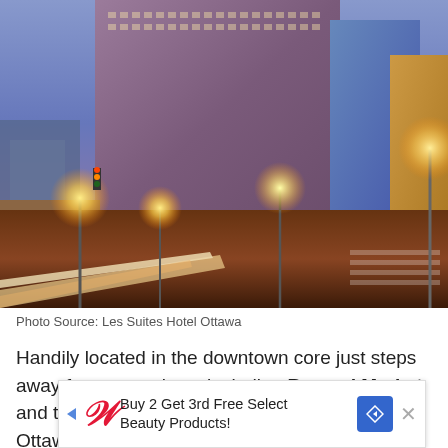[Figure (photo): Night photograph of Les Suites Hotel Ottawa, a tall brick high-rise building in downtown Ottawa, with illuminated street lights and streaking car light trails in the foreground, blue sky in the background.]
Photo Source: Les Suites Hotel Ottawa
Handily located in the downtown core just steps away from attractions, including Byward Market and the Ottawa River, the Les Suites Hotel Ottawa is a great ... or who si...
[Figure (other): Advertisement banner: Buy 2 Get 3rd Free Select Beauty Products! with Walgreens logo, navigation arrow, and close button.]